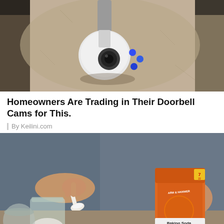[Figure (photo): A white security/doorbell camera mounted on a beige/gray stucco wall, with blue accent lights visible on the device.]
Homeowners Are Trading in Their Doorbell Cams for This.
By Keilini.com
[Figure (photo): A person in a denim shirt holding a box of Arm & Hammer Baking Soda and a white spoon over a glass jar filled with white powder on a countertop.]